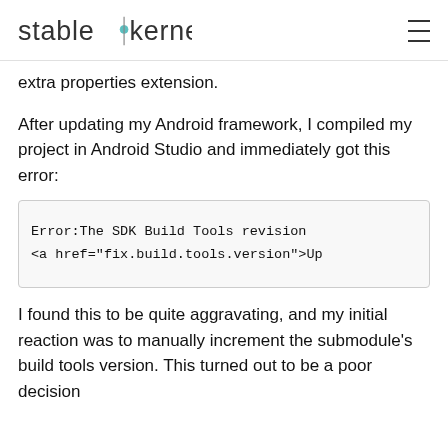stable kernel
extra properties extension.
After updating my Android framework, I compiled my project in Android Studio and immediately got this error:
[Figure (screenshot): Code error box showing: Error:The SDK Build Tools revision <a href="fix.build.tools.version">Up]
I found this to be quite aggravating, and my initial reaction was to manually increment the submodule's build tools version. This turned out to be a poor decision